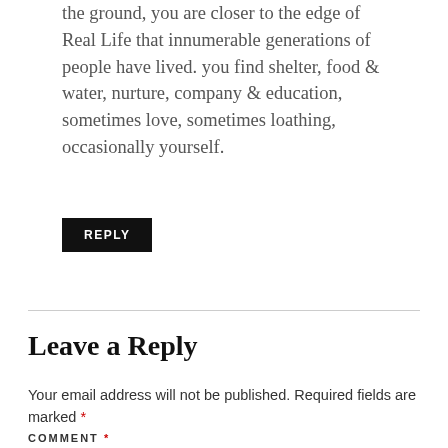the ground, you are closer to the edge of Real Life that innumerable generations of people have lived. you find shelter, food & water, nurture, company & education, sometimes love, sometimes loathing, occasionally yourself.
REPLY
Leave a Reply
Your email address will not be published. Required fields are marked *
COMMENT *